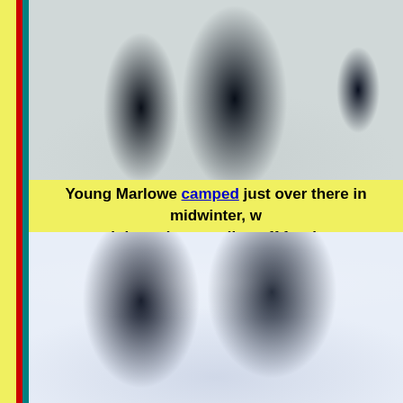[Figure (photo): Black and white winter scene with large dark coniferous trees covered in snow against a pale misty sky, snow-covered ground visible in foreground]
Young Marlowe camped just over there in midwinter, w... night and not trading off for the...
[Figure (photo): Snow-covered evergreen tree branches against a partly cloudy blue-grey sky, close-up winter scene]